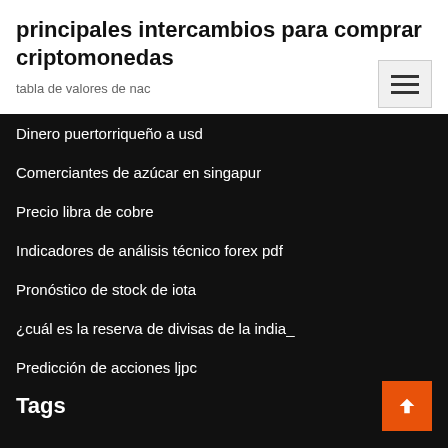principales intercambios para comprar criptomonedas
tabla de valores de nac
Dinero puertorriqueño a usd
Comerciantes de azúcar en singapur
Precio libra de cobre
Indicadores de análisis técnico forex pdf
Pronóstico de stock de iota
¿cuál es la reserva de divisas de la india_
Predicción de acciones ljpc
Tags